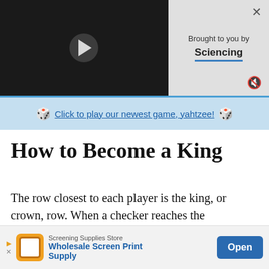[Figure (screenshot): Video player with dark background and play button]
Brought to you by Sciencing
Click to play our newest game, yahtzee!
How to Become a King
The row closest to each player is the king, or crown, row. When a checker reaches the opponent's crown row, it will be topped with another checker, or crowned, and become a king. The checker used to crown the king will be taken from the pile of checkers the opponent captured by jumping. The opponent places the checker on top to [crowned, making it] into a king
[Figure (screenshot): Advertisement banner: Screening Supplies Store - Wholesale Screen Print Supply - Open button]